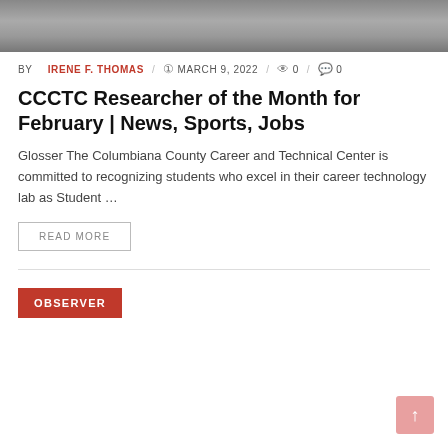[Figure (photo): Black and white photo strip showing people, partially cropped at top of page]
BY IRENE F. THOMAS / MARCH 9, 2022 / 0 / 0
CCCTC Researcher of the Month for February | News, Sports, Jobs
Glosser The Columbiana County Career and Technical Center is committed to recognizing students who excel in their career technology lab as Student …
READ MORE
OBSERVER